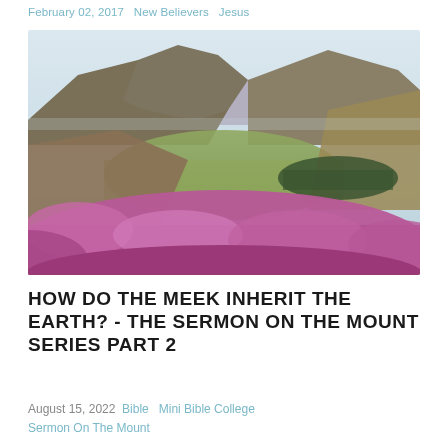February 02, 2017  New Believers  Jesus
[Figure (photo): A scenic highland landscape with rolling purple-heather-covered hills and green valley in the background, with misty mountains and a forest strip.]
HOW DO THE MEEK INHERIT THE EARTH? - THE SERMON ON THE MOUNT SERIES PART 2
August 15, 2022  Bible  Mini Bible College  Sermon On The Mount